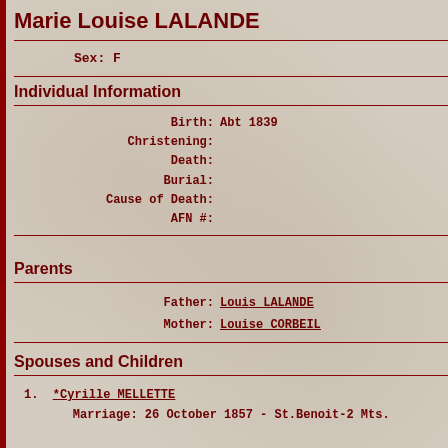Marie Louise LALANDE
Sex: F
Individual Information
Birth: Abt 1839
Christening:
Death:
Burial:
Cause of Death:
AFN #:
Parents
Father: Louis LALANDE
Mother: Louise CORBEIL
Spouses and Children
1. *Cyrille MELLETTE
    Marriage: 26 October 1857 - St.Benoit-2 Mts.